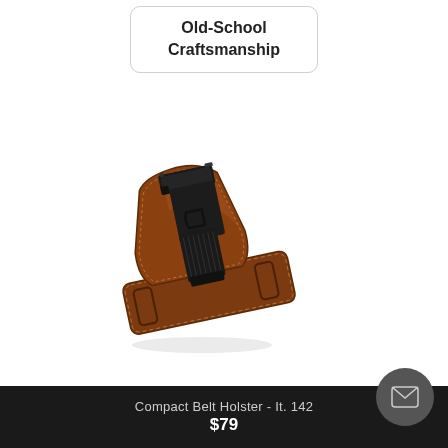Old-School Craftsmanship
[Figure (photo): A brown leather compact belt holster with a black semi-automatic pistol inserted, shown at an angle. The holster features stitched edges and two belt slots.]
Compact Belt Holster - It. 142
$79